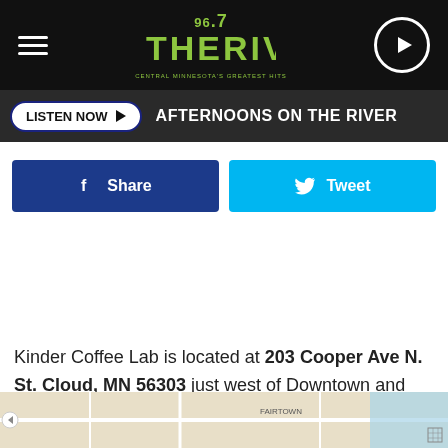96.7 The River | AFTERNOONS ON THE RIVER
[Figure (screenshot): Facebook Share button and Twitter Tweet button]
Kinder Coffee Lab is located at 203 Cooper Ave N. St. Cloud, MN 56303 just west of Downtown and north of Division Street.
[Figure (map): Google Maps showing location near Downtown St. Cloud, Fairtown area]